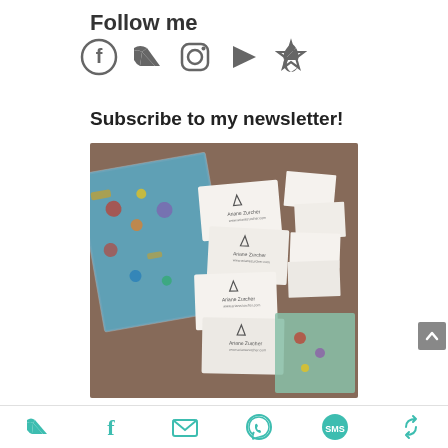Follow me
[Figure (infographic): Social media icons: Facebook, Twitter, Instagram, YouTube, Pinterest]
Subscribe to my newsletter!
[Figure (photo): Photo of artist business cards and art prints spread on a wooden table. Cards show a triangular logo and the name 'Ariane Zurcher'. Colorful textile art prints are visible on the left and right.]
[Figure (infographic): Bottom share bar with social icons: Twitter, Facebook, Email, WhatsApp, SMS, Share/refresh]